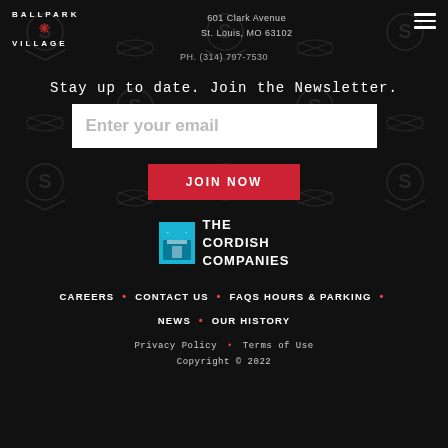BALLPARK VILLAGE
601 Clark Avenue
St. Louis, MO 63102
PH. (314) 797-7530
Stay up to date. Join the Newsletter.
Enter your email
JOIN NOW
[Figure (logo): The Cordish Companies logo with cyan/blue building icon and white text]
CAREERS • CONTACT US • FAQS HOURS & PARKING • NEWS • OUR HISTORY
Privacy Policy • Terms of Use
Copyright © 2022